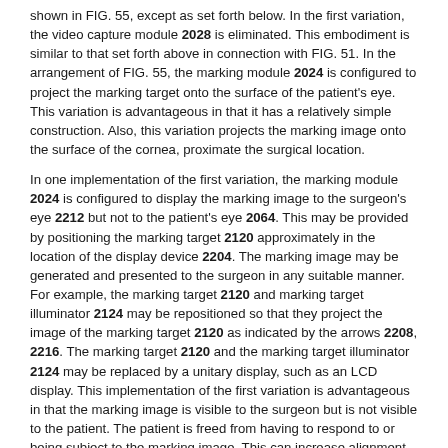shown in FIG. 55, except as set forth below. In the first variation, the video capture module 2028 is eliminated. This embodiment is similar to that set forth above in connection with FIG. 51. In the arrangement of FIG. 55, the marking module 2024 is configured to project the marking target onto the surface of the patient's eye. This variation is advantageous in that it has a relatively simple construction. Also, this variation projects the marking image onto the surface of the cornea, proximate the surgical location.
In one implementation of the first variation, the marking module 2024 is configured to display the marking image to the surgeon's eye 2212 but not to the patient's eye 2064. This may be provided by positioning the marking target 2120 approximately in the location of the display device 2204. The marking image may be generated and presented to the surgeon in any suitable manner. For example, the marking target 2120 and marking target illuminator 2124 may be repositioned so that they project the image of the marking target 2120 as indicated by the arrows 2208, 2216. The marking target 2120 and the marking target illuminator 2124 may be replaced by a unitary display, such as an LCD display. This implementation of the first variation is advantageous in that the marking image is visible to the surgeon but is not visible to the patient. The patient is freed from having to respond to or being subject to the marking image. This can increase alignment performance by increasing patient comfort and decreasing distractions, thereby enabling the patient to remain still during the procedure.